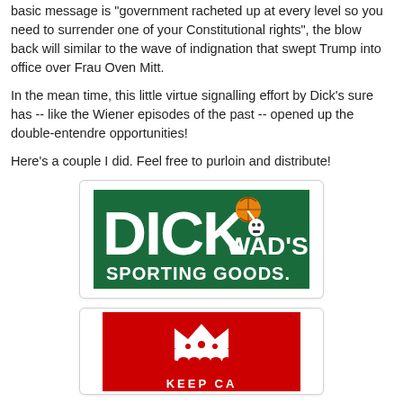basic message is "government racheted up at every level so you need to surrender one of your Constitutional rights", the blow back will similar to the wave of indignation that swept Trump into office over Frau Oven Mitt.
In the mean time, this little virtue signalling effort by Dick's sure has -- like the Wiener episodes of the past -- opened up the double-entendre opportunities!
Here's a couple I did. Feel free to purloin and distribute!
[Figure (illustration): Parody logo reading DICKWAD'S SPORTING GOODS on a green background with a basketball player skull mascot]
[Figure (illustration): Parody Keep Calm style image on a red background with a crown symbol, partially visible]